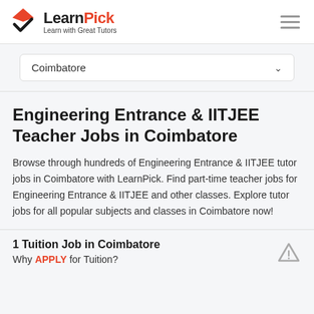LearnPick — Learn with Great Tutors
Coimbatore
Engineering Entrance & IITJEE Teacher Jobs in Coimbatore
Browse through hundreds of Engineering Entrance & IITJEE tutor jobs in Coimbatore with LearnPick. Find part-time teacher jobs for Engineering Entrance & IITJEE and other classes. Explore tutor jobs for all popular subjects and classes in Coimbatore now!
1 Tuition Job in Coimbatore
Why APPLY for Tuition?